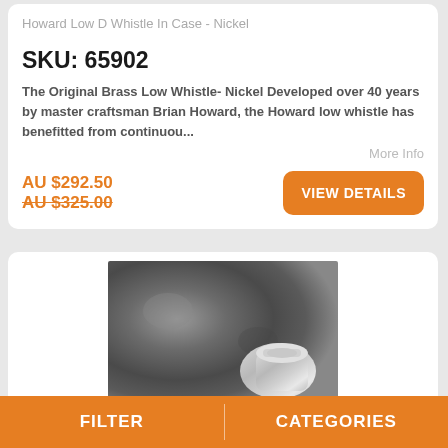Howard Low D Whistle In Case - Nickel
SKU: 65902
The Original Brass Low Whistle- Nickel Developed over 40 years by master craftsman Brian Howard, the Howard low whistle has benefitted from continuou...
More Info
AU $292.50
AU $325.00
VIEW DETAILS
[Figure (photo): Photo of a silver/nickel low whistle instrument against a dark mottled background]
FILTER
CATEGORIES